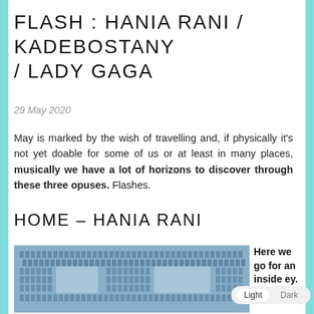FLASH : HANIA RANI / KADEBOSTANY / LADY GAGA
29 May 2020
May is marked by the wish of travelling and, if physically it's not yet doable for some of us or at least in many places, musically we have a lot of horizons to discover through these three opuses. Flashes.
HOME – HANIA RANI
[Figure (photo): A woven textile artwork with a blue-grey color scheme, showing a textured woven fabric with rectangular cutout patterns, displayed against a light blue background.]
Here we go for an inside ey. It's